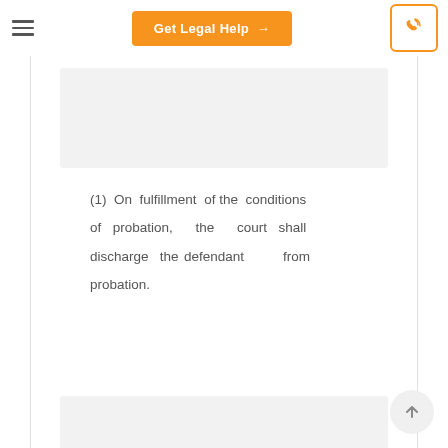Get Legal Help →
[Figure (other): Gray placeholder box at top of content area]
(1) On fulfillment of the conditions of probation, the court shall discharge the defendant from probation.
[Figure (other): Gray placeholder box at bottom of content area]